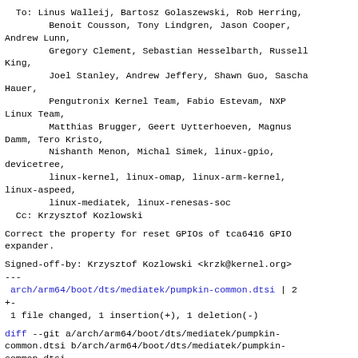To: Linus Walleij, Bartosz Golaszewski, Rob Herring,
        Benoit Cousson, Tony Lindgren, Jason Cooper,
Andrew Lunn,
        Gregory Clement, Sebastian Hesselbarth, Russell
King,
        Joel Stanley, Andrew Jeffery, Shawn Guo, Sascha
Hauer,
        Pengutronix Kernel Team, Fabio Estevam, NXP
Linux Team,
        Matthias Brugger, Geert Uytterhoeven, Magnus
Damm, Tero Kristo,
        Nishanth Menon, Michal Simek, linux-gpio,
devicetree,
        linux-kernel, linux-omap, linux-arm-kernel,
linux-aspeed,
        linux-mediatek, linux-renesas-soc
  Cc: Krzysztof Kozlowski
Correct the property for reset GPIOs of tca6416 GPIO expander.
Signed-off-by: Krzysztof Kozlowski <krzk@kernel.org>
---
 arch/arm64/boot/dts/mediatek/pumpkin-common.dtsi | 2 +-
 1 file changed, 1 insertion(+), 1 deletion(-)
diff --git a/arch/arm64/boot/dts/mediatek/pumpkin-common.dtsi b/arch/arm64/boot/dts/mediatek/pumpkin-common.dtsi